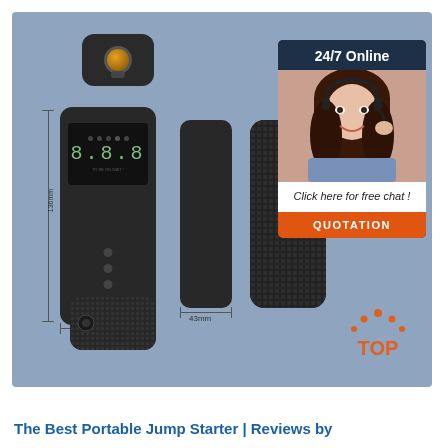[Figure (photo): Product image showing multiple views of a portable jump starter device: top connector piece with orange lens, front view with digital display and buttons, side view, back view with textured pattern, and bottom connector. Dimension labels show 61mm width and 43mm for side view. Blue-grey background.]
[Figure (photo): 24/7 Online chat widget overlay in dark blue, showing a woman with headset smiling, text 'Click here for free chat!' and orange QUOTATION button.]
[Figure (logo): TOP logo in orange with dots forming an arc above the word TOP]
The Best Portable Jump Starter | Reviews by